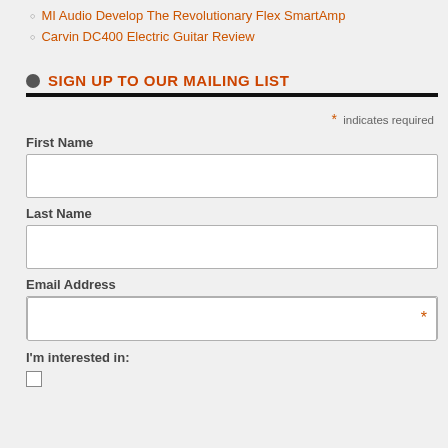MI Audio Develop The Revolutionary Flex SmartAmp
Carvin DC400 Electric Guitar Review
SIGN UP TO OUR MAILING LIST
* indicates required
First Name
Last Name
Email Address
I'm interested in: